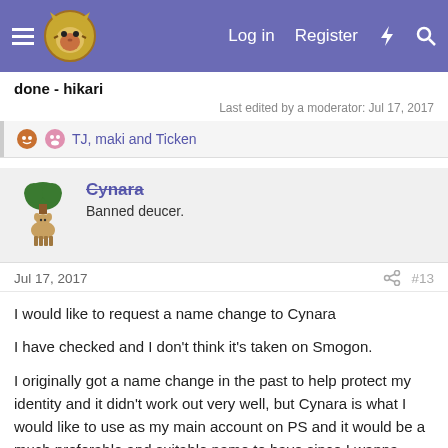Log in  Register
done - hikari
Last edited by a moderator: Jul 17, 2017
TJ, maki and Ticken
Cynara
Banned deucer.
Jul 17, 2017  #13
I would like to request a name change to Cynara

I have checked and I don't think it's taken on Smogon.

I originally got a name change in the past to help protect my identity and it didn't work out very well, but Cynara is what I would like to use as my main account on PS and it would be a much preferable and suitable name to have since I wanna migrate to use this username everywhere. I fully understand that